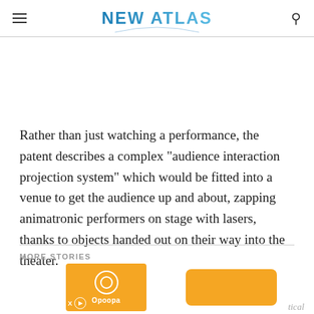NEW ATLAS
Rather than just watching a performance, the patent describes a complex "audience interaction projection system" which would be fitted into a venue to get the audience up and about, zapping animatronic performers on stage with lasers, thanks to objects handed out on their way into the theater.
MORE STORIES
[Figure (other): Advertisement banner with orange background, circular icon and Opoopa branding on left, orange rectangle on right, X close button and play button at bottom left]